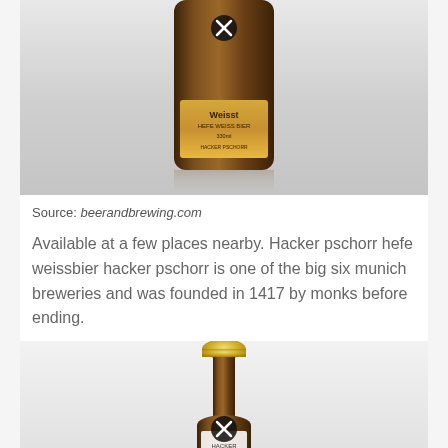[Figure (photo): Top portion of a dark amber beer bottle with gold label showing partial text, photographed on a light grey reflective surface]
Source: beerandbrewing.com
Available at a few places nearby. Hacker pschorr hefe weissbier hacker pschorr is one of the big six munich breweries and was founded in 1417 by monks before ending.
[Figure (photo): Top portion (neck and crown cap) of a beer bottle with gold crown cap and white label, partially visible at bottom of page]